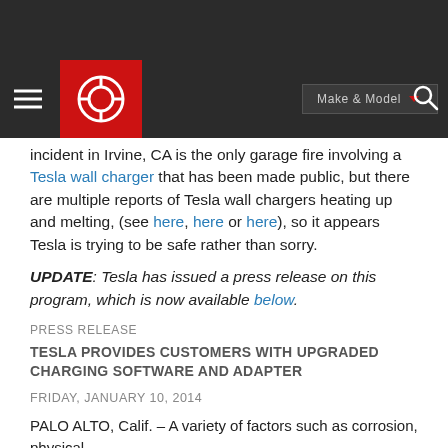CarEdge navigation bar with Make & Model selector and search
incident in Irvine, CA is the only garage fire involving a Tesla wall charger that has been made public, but there are multiple reports of Tesla wall chargers heating up and melting, (see here, here or here), so it appears Tesla is trying to be safe rather than sorry.
UPDATE: Tesla has issued a press release on this program, which is now available below.
PRESS RELEASE
TESLA PROVIDES CUSTOMERS WITH UPGRADED CHARGING SOFTWARE AND ADAPTER
FRIDAY, JANUARY 10, 2014
PALO ALTO, Calif. – A variety of factors such as corrosion, physical